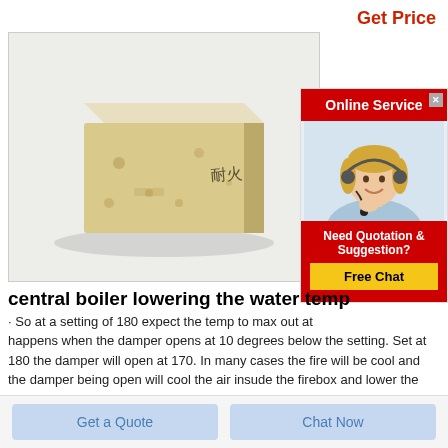Get Price
[Figure (photo): A light tan/cream colored firebrick with Chinese characters stamped on it, photographed against a white/light gray background.]
[Figure (illustration): Online Service widget with red header, portrait photo of a blonde woman with a headset smiling, and a red section below with 'Need Quotation & Suggestion?' text and a yellow 'Free Chat' button.]
central boiler lowering the water temp
So at a setting of 180 expect the temp to max out at
happens when the damper opens at 10 degrees below the setting. Set at 180 the damper will open at 170. In many cases the fire will be cool and the damper being open will cool the air insude the firebox and lower the water temp in the boiler.
Get a Quote    Chat Now